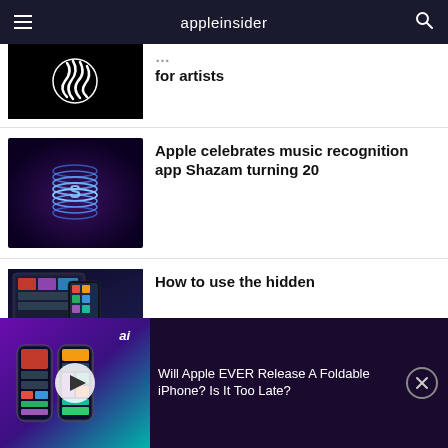appleinsider
[Figure (screenshot): Black background with white zebra-like swirl logo]
... app for artists
[Figure (photo): Shazam app icon glowing blue on dark purple background]
Apple celebrates music recognition app Shazam turning 20
[Figure (screenshot): iPad and iPhone showing Apple TV app interface]
How to use the hidden
[Figure (screenshot): Video thumbnail: foldable iPhone concept on purple/teal gradient background with play button]
Will Apple EVER Release A Foldable iPhone? Is It Too Late?